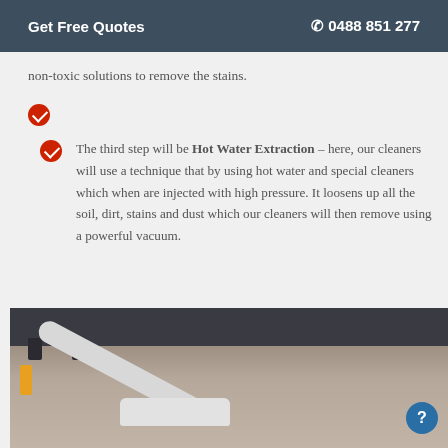Get Free Quotes   📞 0488 851 277
non-toxic solutions to remove the stains.
The third step will be Hot Water Extraction – here, our cleaners will use a technique that by using hot water and special cleaners which when are injected with high pressure. It loosens up all the soil, dirt, stains and dust which our cleaners will then remove using a powerful vacuum.
[Figure (photo): A vacuum cleaner head on carpet near a dark sofa, being used for carpet cleaning.]